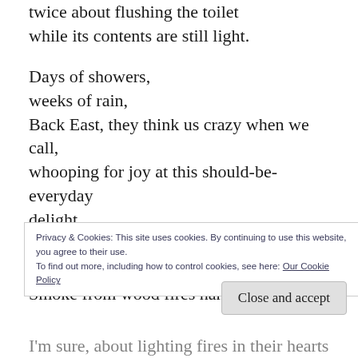twice about flushing the toilet while its contents are still light.

Days of showers,
weeks of rain,
Back East, they think us crazy when we call,
whooping for joy at this should-be-everyday delight.
Why should it delight us at all?
Days of showers, weeks of rain.
Smoke from wood fires hangs low
Privacy & Cookies: This site uses cookies. By continuing to use this website, you agree to their use.
To find out more, including how to control cookies, see here: Our Cookie Policy
I'm sure, about lighting fires in their hearts